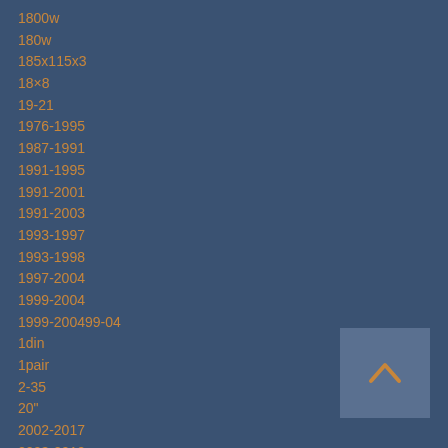1800w
180w
185x115x3
18×8
19-21
1976-1995
1987-1991
1991-1995
1991-2001
1991-2003
1993-1997
1993-1998
1997-2004
1999-2004
1999-200499-04
1din
1pair
2-35
20"
2002-2017
2003-2012
2004-2006
2005-2007
2005-2009
2005-2010
2005-2019
[Figure (other): Navigation up-arrow button in a grey box at bottom-right]